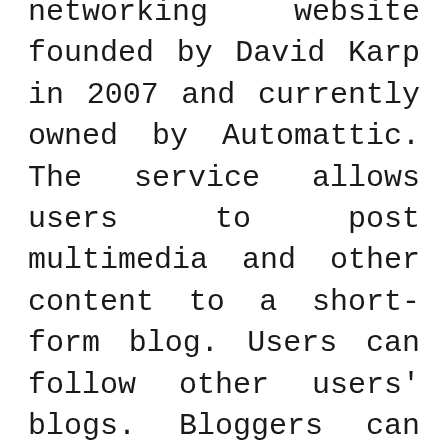networking website founded by David Karp in 2007 and currently owned by Automattic. The service allows users to post multimedia and other content to a short-form blog. Users can follow other users' blogs. Bloggers can also make their blogs private.
Tumblr is a free microblogging service that allows you to post short blog posts, images, links, videos, audio, and quotes on a personalized URL that can be